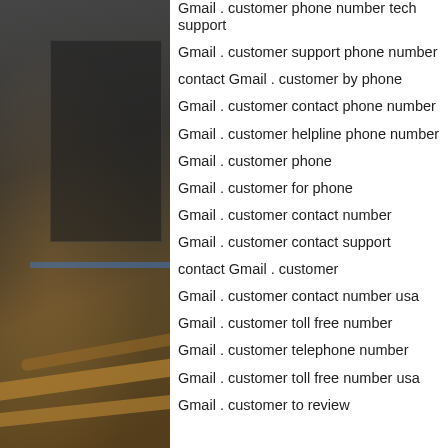[Figure (photo): Background photo of an indoor venue with railings, panels, and overhead structures, shown in dark/muted tones on the left side of the page.]
Gmail . customer phone number tech support
Gmail . customer support phone number
contact Gmail . customer by phone
Gmail . customer contact phone number
Gmail . customer helpline phone number
Gmail . customer phone
Gmail . customer for phone
Gmail . customer contact number
Gmail . customer contact support
contact Gmail . customer
Gmail . customer contact number usa
Gmail . customer toll free number
Gmail . customer telephone number
Gmail . customer toll free number usa
Gmail . customer to review